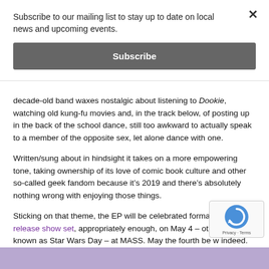Subscribe to our mailing list to stay up to date on local news and upcoming events.
Subscribe
decade-old band waxes nostalgic about listening to Dookie, watching old kung-fu movies and, in the track below, of posting up in the back of the school dance, still too awkward to actually speak to a member of the opposite sex, let alone dance with one.
Written/sung about in hindsight it takes on a more empowering tone, taking ownership of its love of comic book culture and other so-called geek fandom because it’s 2019 and there’s absolutely nothing wrong with enjoying those things.
Sticking on that theme, the EP will be celebrated formally at a release show set, appropriately enough, on May 4 – otherwise known as Star Wars Day – at MASS. May the fourth be w... indeed.
[Figure (other): reCAPTCHA privacy badge in bottom right corner]
[Figure (photo): Partial image strip at the bottom of the page, purple/lavender toned]